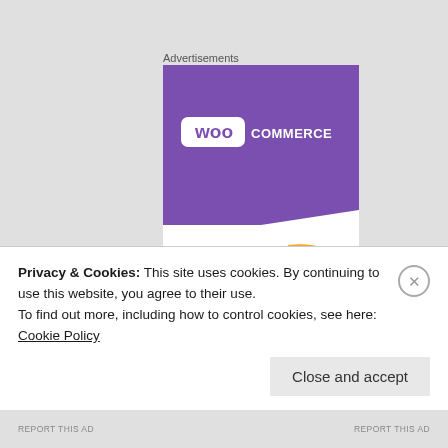Advertisements
[Figure (illustration): WooCommerce advertisement banner showing purple header with WooCommerce logo, orange decorative shape, and text 'How to start selling subscriptions']
Privacy & Cookies: This site uses cookies. By continuing to use this website, you agree to their use.
To find out more, including how to control cookies, see here: Cookie Policy
Close and accept
REPORT THIS AD
REPORT THIS AD